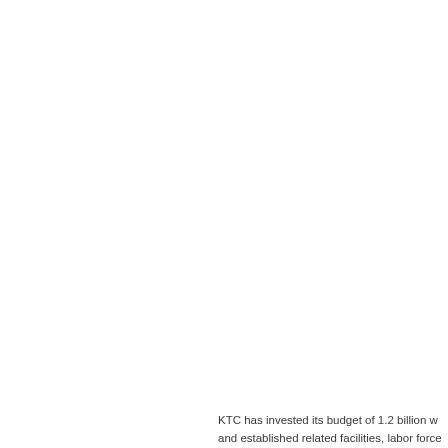KTC has invested its budget of 1.2 billion w and established related facilities, labor force